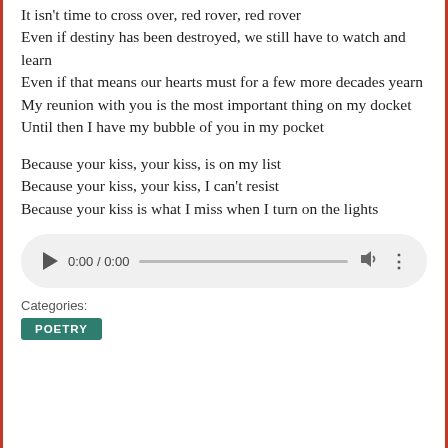It isn't time to cross over, red rover, red rover
Even if destiny has been destroyed, we still have to watch and learn
Even if that means our hearts must for a few more decades yearn
My reunion with you is the most important thing on my docket
Until then I have my bubble of you in my pocket
Because your kiss, your kiss, is on my list
Because your kiss, your kiss, I can't resist
Because your kiss is what I miss when I turn on the lights
[Figure (other): Audio player control showing 0:00 / 0:00 with play button, seek bar, volume and options icons]
Categories:
POETRY